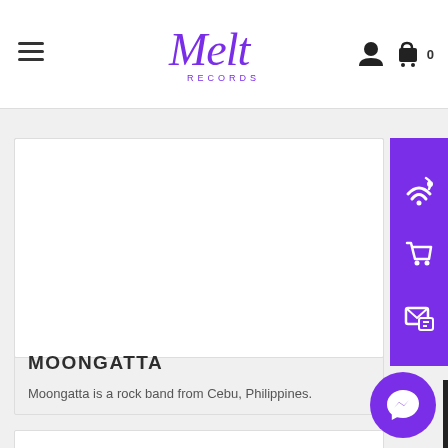Melt Records
[Figure (screenshot): Screenshot of Melt Records website showing navigation bar with hamburger menu, Melt Records logo in purple cursive, and user/cart icons]
MOONGATTA
Moongatta is a rock band from Cebu, Philippines.
[Figure (screenshot): Second product card placeholder with white background]
[Figure (other): Purple sidebar with wifi/signal icon, shopping cart icon, and email/message icon]
[Figure (other): Purple messenger chat bubble icon at bottom right]